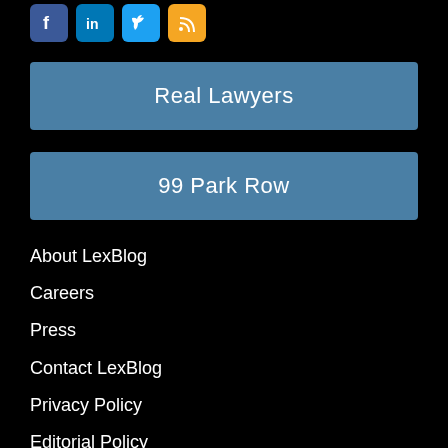[Figure (logo): Social media icons: Facebook (blue), LinkedIn (blue), Twitter (light blue), RSS (orange)]
Real Lawyers
99 Park Row
About LexBlog
Careers
Press
Contact LexBlog
Privacy Policy
Editorial Policy
Disclaimer
Terms of Service